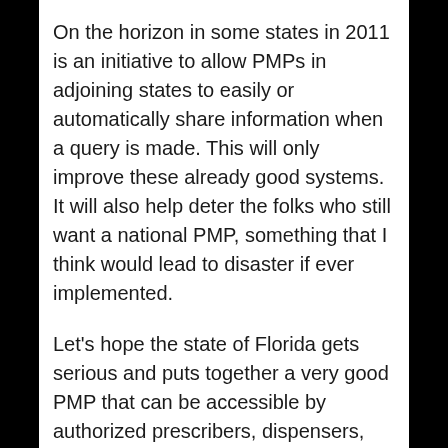On the horizon in some states in 2011 is an initiative to allow PMPs in adjoining states to easily or automatically share information when a query is made. This will only improve these already good systems. It will also help deter the folks who still want a national PMP, something that I think would lead to disaster if ever implemented.
Let's hope the state of Florida gets serious and puts together a very good PMP that can be accessible by authorized prescribers, dispensers, and law enforcement to help curb the massive amount of diversion coming out of that state. Georgia is in the infant stages of trying to get a PMP to the legislature, as they have found that the problem in Florida has crept its way north